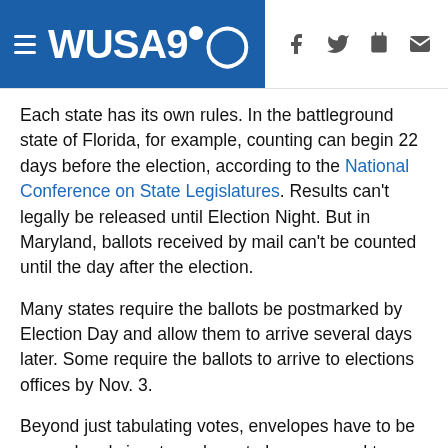WUSA9
Each state has its own rules. In the battleground state of Florida, for example, counting can begin 22 days before the election, according to the National Conference on State Legislatures. Results can't legally be released until Election Night. But in Maryland, ballots received by mail can't be counted until the day after the election.
Many states require the ballots be postmarked by Election Day and allow them to arrive several days later. Some require the ballots to arrive to elections offices by Nov. 3.
Beyond just tabulating votes, envelopes have to be opened and signatures have to be compared to what is on file -- things meant to prevent voter fraud. That takes time.
Absentee vs. all-mail: What's the difference?